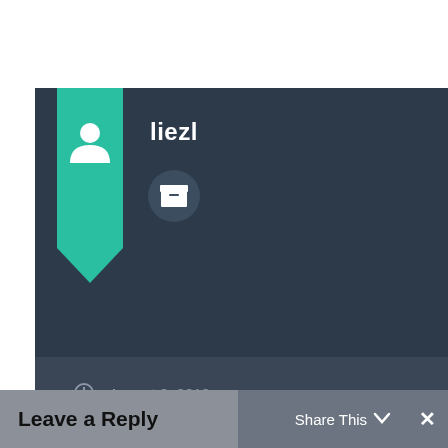[Figure (screenshot): Blog post author card showing user 'liezl' with teal bookmark ribbon on left side, person icon, and archive box icon button]
liezl
August 8, 2010
Uncategorized
Previous post
Next post
Leave a Reply
Share This